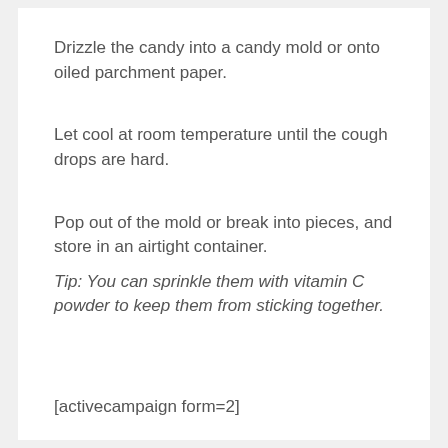Drizzle the candy into a candy mold or onto oiled parchment paper.
Let cool at room temperature until the cough drops are hard.
Pop out of the mold or break into pieces, and store in an airtight container.
Tip: You can sprinkle them with vitamin C powder to keep them from sticking together.
[activecampaign form=2]